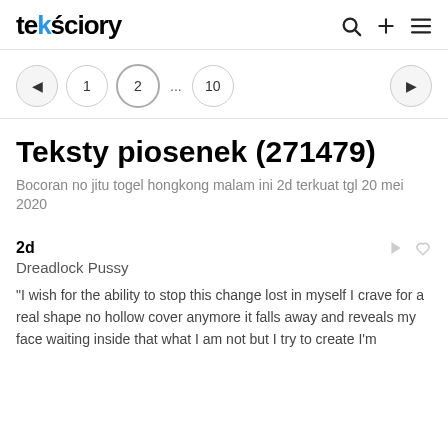teksciory
1 2 ... 10
Teksty piosenek (271479)
Bocoran no jitu togel hongkong malam ini 2d terkuat tgl 20 mei 2020
2d
Dreadlock Pussy
"I wish for the ability to stop this change lost in myself I crave for a real shape no hollow cover anymore it falls away and reveals my face waiting inside that what I am not but I try to create I'm